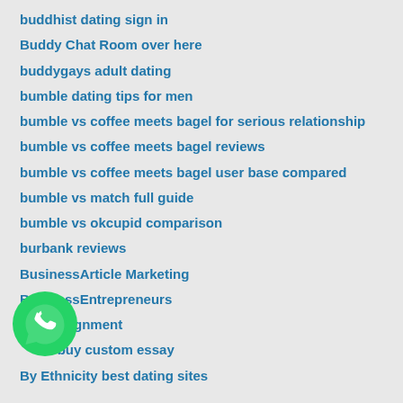buddhist dating sign in
Buddy Chat Room over here
buddygays adult dating
bumble dating tips for men
bumble vs coffee meets bagel for serious relationship
bumble vs coffee meets bagel reviews
bumble vs coffee meets bagel user base compared
bumble vs match full guide
bumble vs okcupid comparison
burbank reviews
BusinessArticle Marketing
BusinessEntrepreneurs
buy assignment
buy custom essay
By Ethnicity best dating sites